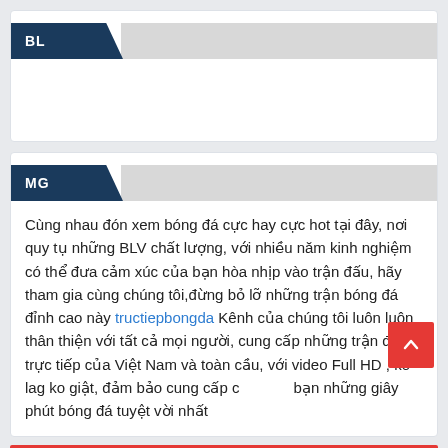BL
MG
Cùng nhau đón xem bóng đá cực hay cực hot tại đây, nơi quy tụ những BLV chất lượng, với nhiều năm kinh nghiệm có thể đưa cảm xúc của bạn hòa nhịp vào trận đấu, hãy tham gia cùng chúng tôi,đừng bỏ lỡ những trận bóng đá đỉnh cao này tructiepbongda Kênh của chúng tôi luôn luôn thân thiện với tất cả mọi người, cung cấp những trận đấu trực tiếp của Việt Nam và toàn cầu, với video Full HD , ko lag ko giật, đảm bảo cung cấp cho bạn những giây phút bóng đá tuyệt vời nhất